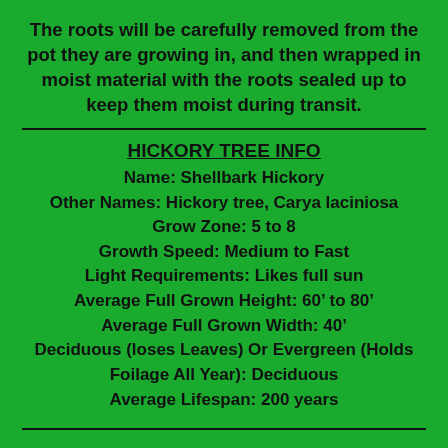The roots will be carefully removed from the pot they are growing in, and then wrapped in moist material with the roots sealed up to keep them moist during transit.
HICKORY TREE INFO
Name: Shellbark Hickory
Other Names: Hickory tree, Carya laciniosa
Grow Zone: 5 to 8
Growth Speed: Medium to Fast
Light Requirements: Likes full sun
Average Full Grown Height: 60’ to 80’
Average Full Grown Width: 40’
Deciduous (loses Leaves) Or Evergreen (Holds Foilage All Year): Deciduous
Average Lifespan: 200 years